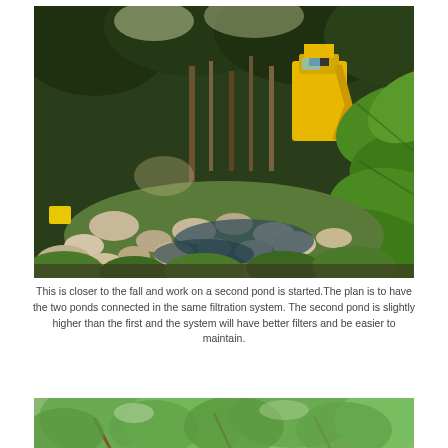[Figure (photo): Outdoor scene showing a rocky pond/stream construction in progress, surrounded by lush green tropical vegetation including large-leafed banana plants on the right. A yellow excavator machine is visible in the background among trees. Natural lighting with dappled sunlight.]
This is closer to the fall and work on a second pond is started.The plan is to have the two ponds connected in the same filtration system. The second pond is slightly higher than the first and the system will have better filters and be easier to maintain.
[Figure (photo): Partially visible photo at bottom showing green leafy plants and branches, appears to be garden or outdoor vegetation scene.]